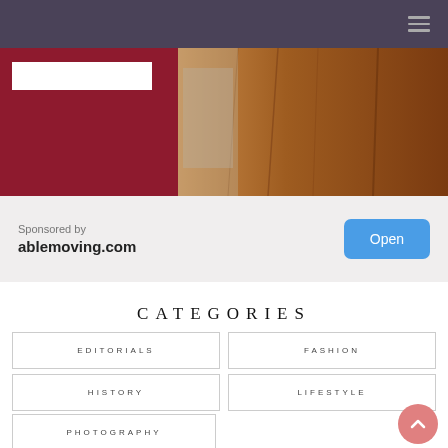Navigation bar with hamburger menu
[Figure (photo): Hero image with dark red left panel containing white rectangle and photo of person near wooden door on right]
Sponsored by
ablemoving.com
Open
CATEGORIES
EDITORIALS
FASHION
HISTORY
LIFESTYLE
PHOTOGRAPHY